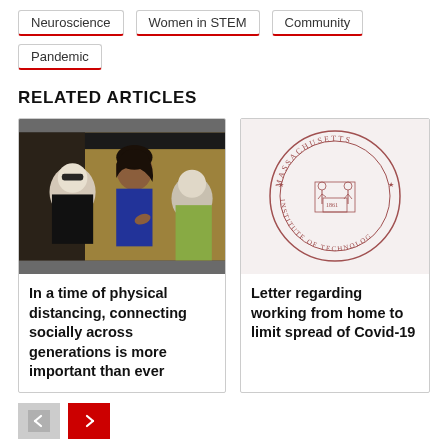Neuroscience
Women in STEM
Community
Pandemic
RELATED ARTICLES
[Figure (photo): A young Black woman leaning over helping two elderly women, one wearing sunglasses, in a classroom or community setting]
In a time of physical distancing, connecting socially across generations is more important than ever
[Figure (logo): Massachusetts Institute of Technology seal/logo in reddish-brown ink on light background]
Letter regarding working from home to limit spread of Covid-19